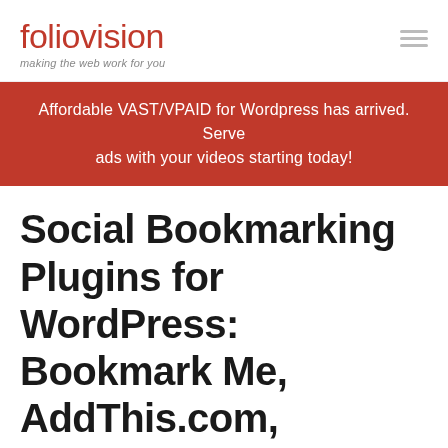foliovision — making the web work for you
Affordable VAST/VPAID for Wordpress has arrived. Serve ads with your videos starting today!
Social Bookmarking Plugins for WordPress: Bookmark Me, AddThis.com, AddToAny.com and Share This
20 JUNE 2007 / ALEC KINNEAR / 11 COMMENTS